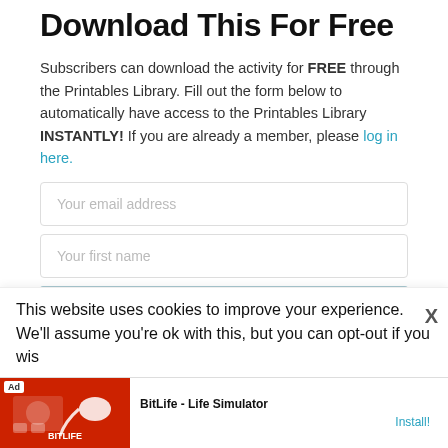Download This For Free
Subscribers can download the activity for FREE through the Printables Library. Fill out the form below to automatically have access to the Printables Library INSTANTLY! If you are already a member, please log in here.
[Figure (screenshot): Web form with two input fields: 'Your email address' and 'Your first name', and a teal submit button bar at the bottom]
This website uses cookies to improve your experience. We'll assume you're ok with this, but you can opt-out if you wis
[Figure (screenshot): Ad banner: BitLife - Life Simulator with Install button]